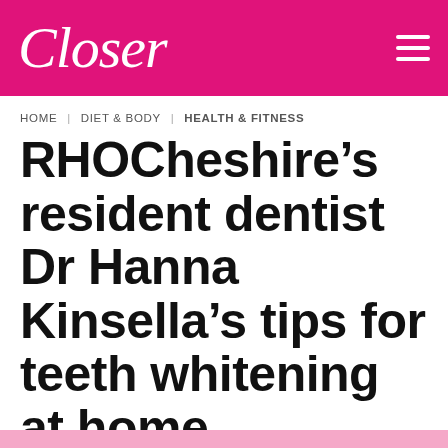Closer
HOME | DIET & BODY | HEALTH & FITNESS
RHOCheshire’s resident dentist Dr Hanna Kinsella’s tips for teeth whitening at home
‘Some at home kits can cause more harm than good’